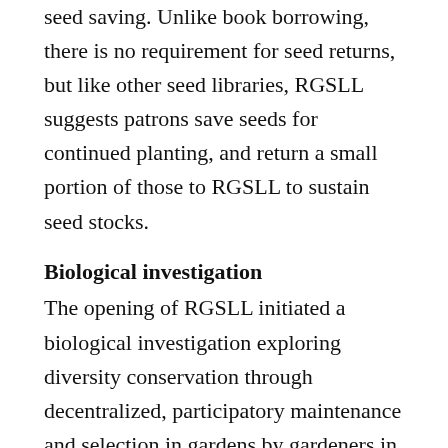seed saving. Unlike book borrowing, there is no requirement for seed returns, but like other seed libraries, RGSLL suggests patrons save seeds for continued planting, and return a small portion of those to RGSLL to sustain seed stocks.
Biological investigation
The opening of RGSLL initiated a biological investigation exploring diversity conservation through decentralized, participatory maintenance and selection in gardens by gardeners in Richmond and surrounding areas. As part of this, RGSLL hypothesizes that its work contributes to greater crop diversity and adaptation than would be present without those efforts through the following mechanisms: growing varieties that are not among conventional, commercial garden seed